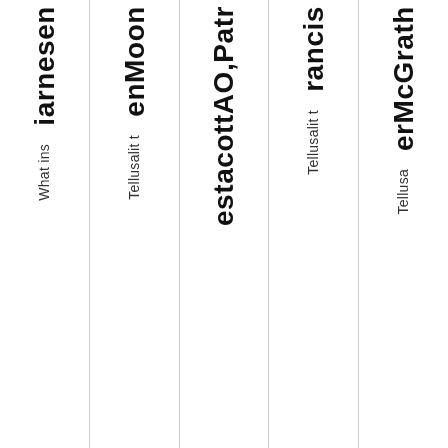iarnesen
What ins
enMoon
Tellusalit t
estacottAO,Patr
rancis
Tellusalit t
erMcGrath
Tellusa